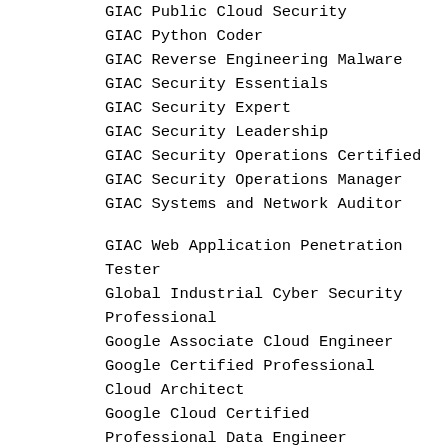GIAC Public Cloud Security
GIAC Python Coder
GIAC Reverse Engineering Malware
GIAC Security Essentials
GIAC Security Expert
GIAC Security Leadership
GIAC Security Operations Certified
GIAC Security Operations Manager
GIAC Systems and Network Auditor
GIAC Web Application Penetration Tester
Global Industrial Cyber Security Professional
Google Associate Cloud Engineer
Google Certified Professional Cloud Architect
Google Cloud Certified Professional Data Engineer
Google Cloud DevOps Engineer